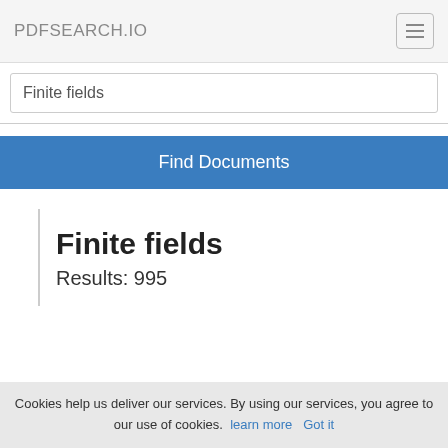PDFSEARCH.IO
Finite fields
Find Documents
Finite fields
Results: 995
Cookies help us deliver our services. By using our services, you agree to our use of cookies. learn more   Got it